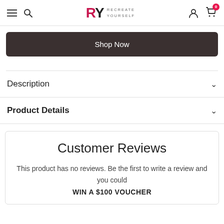RY RECREATE YOURSELF — navigation bar with hamburger, search, logo, user icon, cart (0)
Shop Now
Description
Product Details
Customer Reviews
This product has no reviews. Be the first to write a review and you could
WIN A $100 VOUCHER